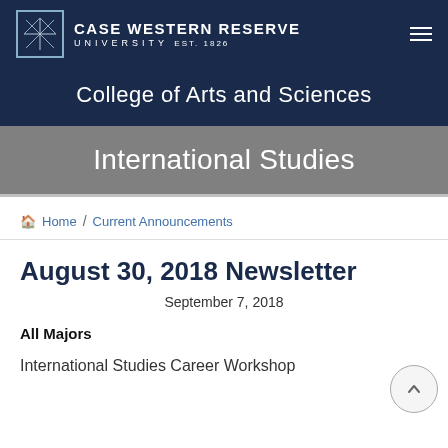Case Western Reserve University EST. 1826
College of Arts and Sciences
International Studies
Home / Current Announcements
August 30, 2018 Newsletter
September 7, 2018
All Majors
International Studies Career Workshop